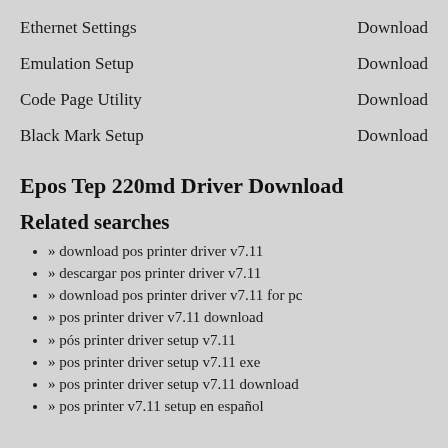Ethernet Settings — Download
Emulation Setup — Download
Code Page Utility — Download
Black Mark Setup — Download
Epos Tep 220md Driver Download
Related searches
» download pos printer driver v7.11
» descargar pos printer driver v7.11
» download pos printer driver v7.11 for pc
» pos printer driver v7.11 download
» pós printer driver setup v7.11
» pos printer driver setup v7.11 exe
» pos printer driver setup v7.11 download
» pos printer v7.11 setup en español